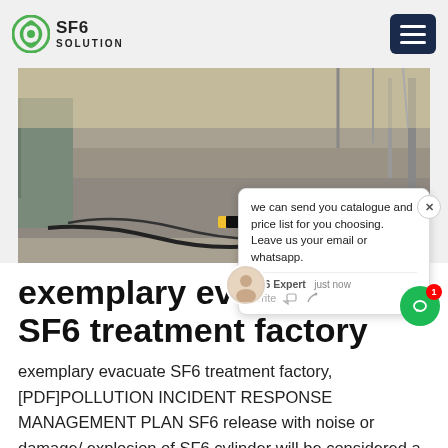SF6 SOLUTION
[Figure (photo): Outdoor industrial area with hoses/cables on the ground, yellow-black barrier tape, fence in background]
[Figure (screenshot): Chat popup overlay: 'we can send you catalogue and price list for you choosing. Leave us your email or whatsapp.' with SF6 Expert avatar, 'just now', Write field]
exemplary evacuate SF6 treatment factory
exemplary evacuate SF6 treatment factory, [PDF]POLLUTION INCIDENT RESPONSE MANAGEMENT PLAN SF6 release with noise or damage/ explosion of SF6 cylinder will be considered a major gas leak and PIRMP will be activated for such incidents. Since the SF6